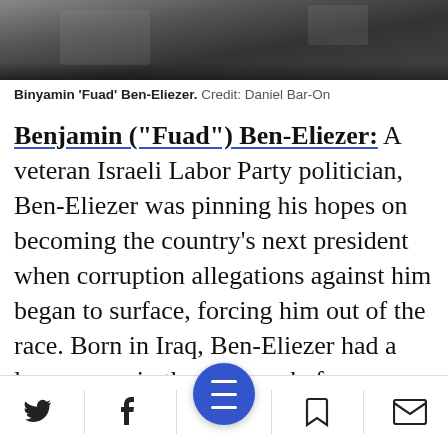[Figure (photo): Photograph of Binyamin 'Fuad' Ben-Eliezer, partial view showing dark background with some objects]
Binyamin 'Fuad' Ben-Eliezer.  Credit: Daniel Bar-On
Benjamin ("Fuad") Ben-Eliezer: A veteran Israeli Labor Party politician, Ben-Eliezer was pinning his hopes on becoming the country’s next president when corruption allegations against him began to surface, forcing him out of the race. Born in Iraq, Ben-Eliezer had a long career in the military before transitioning into politics. He was known to have a particularly close relationship with Egypt’s deposed President Hosni Mubarak. During his 30 years
Navigation bar with Twitter, Facebook, menu, bookmark, and mail icons